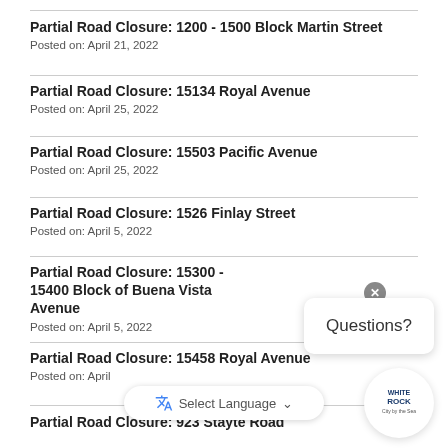Partial Road Closure: 1200 - 1500 Block Martin Street
Posted on: April 21, 2022
Partial Road Closure: 15134 Royal Avenue
Posted on: April 25, 2022
Partial Road Closure: 15503 Pacific Avenue
Posted on: April 25, 2022
Partial Road Closure: 1526 Finlay Street
Posted on: April 5, 2022
Partial Road Closure: 15300 - 15400 Block of Buena Vista Avenue
Posted on: April 5, 2022
Partial Road Closure: 15458 Royal Avenue
Posted on: April
Partial Road Closure: 923 Stayte Road